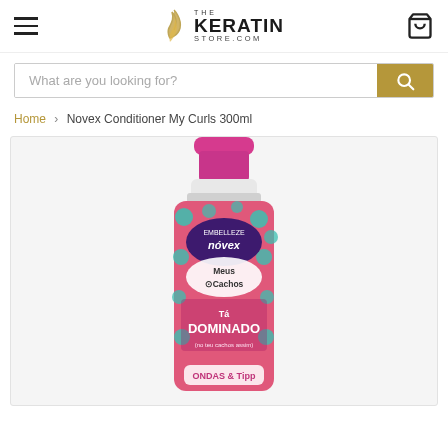The Keratin Store
What are you looking for?
Home > Novex Conditioner My Curls 300ml
[Figure (photo): Bottle of Novex/Embelleze 'Meus Cachos' conditioner with pink cap, pink and teal patterned label reading 'Ta Dominado' and 'Ondas', 300ml]